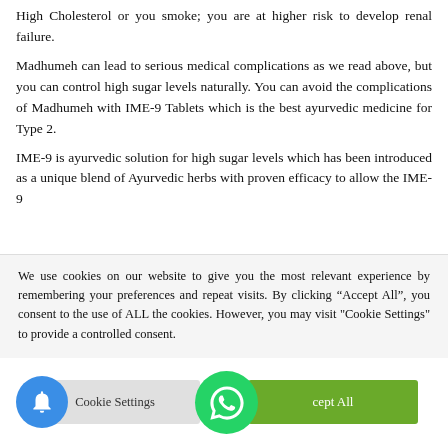High Cholesterol or you smoke; you are at higher risk to develop renal failure.
Madhumeh can lead to serious medical complications as we read above, but you can control high sugar levels naturally. You can avoid the complications of Madhumeh with IME-9 Tablets which is the best ayurvedic medicine for Type 2.
IME-9 is ayurvedic solution for high sugar levels which has been introduced as a unique blend of Ayurvedic [text cut off]
We use cookies on our website to give you the most relevant experience by remembering your preferences and repeat visits. By clicking “Accept All”, you consent to the use of ALL the cookies. However, you may visit "Cookie Settings" to provide a controlled consent.
[Figure (other): Cookie Settings button, WhatsApp icon circle, Accept All green button, blue notification bell circle]